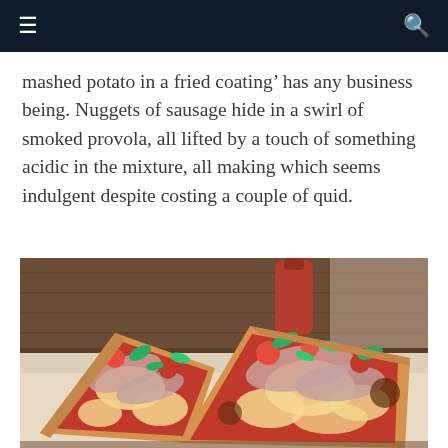≡  🔍
mashed potato in a fried coating’ has any business being. Nuggets of sausage hide in a swirl of smoked provola, all lifted by a touch of something acidic in the mixture, all making which seems indulgent despite costing a couple of quid.
[Figure (photo): Two slices of pizza with tomato sauce, melted cheese, prosciutto/cured meat, cherry tomatoes, and fresh arugula/basil leaves, served on a light-colored surface, with a bottle of sauce visible in the background.]